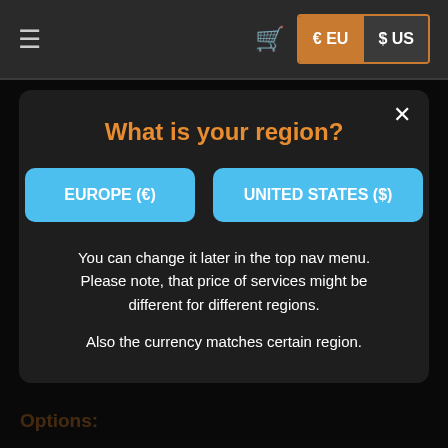≡  🛒  € EU  $ US
Reputations with common Shadowlands factions
Some … (dimmed)
ETA:
(dimmed list items)
Additional options may increase or decrease the lead time, but not the main time!
Options:
What is your region?
EUROPE (€)
UNITED STATES ($)
You can change it later in the top nav menu. Please note, that price of services might be different for different regions.

Also the currency matches certain region.